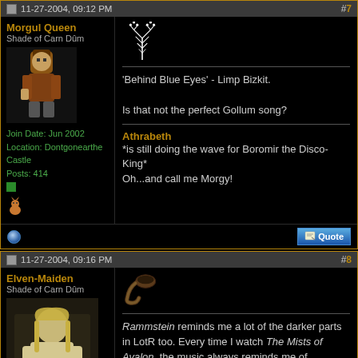11-27-2004, 09:12 PM  #7
Morgul Queen
Shade of Carn Dûm
Join Date: Jun 2002
Location: Dontgonearthe Castle
Posts: 414
'Behind Blue Eyes' - Limp Bizkit.

Is that not the perfect Gollum song?

Athrabeth
*is still doing the wave for Boromir the Disco-King*
Oh...and call me Morgy!
11-27-2004, 09:16 PM  #8
Elven-Maiden
Shade of Carn Dûm
Join Date: Jan 2002
Location: Canada
Posts: 307
Rammstein reminds me a lot of the darker parts in LotR too. Every time I watch The Mists of Avalon, the music always reminds me of something that should be in the LotR.